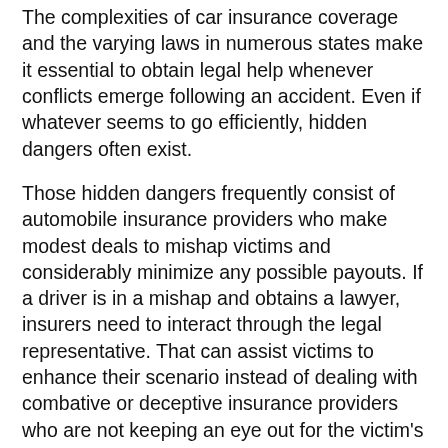The complexities of car insurance coverage and the varying laws in numerous states make it essential to obtain legal help whenever conflicts emerge following an accident. Even if whatever seems to go efficiently, hidden dangers often exist.
Those hidden dangers frequently consist of automobile insurance providers who make modest deals to mishap victims and considerably minimize any possible payouts. If a driver is in a mishap and obtains a lawyer, insurers need to interact through the legal representative. That can assist victims to enhance their scenario instead of dealing with combative or deceptive insurance providers who are not keeping an eye out for the victim's benefits.